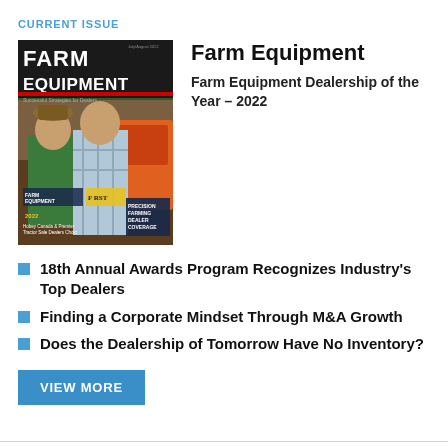CURRENT ISSUE
[Figure (photo): Farm Equipment magazine cover - July/August 2022 issue showing two men standing in a farm equipment dealership, with text 'Farm Equipment Dealership of the Year 2022' and 'Precision Farming Dealer Coverage']
Farm Equipment
Farm Equipment Dealership of the Year – 2022
18th Annual Awards Program Recognizes Industry's Top Dealers
Finding a Corporate Mindset Through M&A Growth
Does the Dealership of Tomorrow Have No Inventory?
VIEW MORE